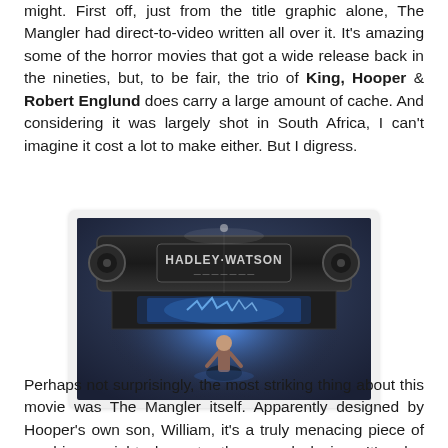might. First off, just from the title graphic alone, The Mangler had direct-to-video written all over it. It's amazing some of the horror movies that got a wide release back in the nineties, but, to be fair, the trio of King, Hooper & Robert Englund does carry a large amount of cache. And considering it was largely shot in South Africa, I can't imagine it cost a lot to make either. But I digress.
[Figure (photo): Movie still from The Mangler showing a large industrial machine with 'HADLEY WATSON' engraved on it, with blue lightning visible and a person standing in front of it.]
Perhaps not surprisingly, the most striking thing about this movie was The Mangler itself. Apparently designed by Hooper's own son, William, it's a truly menacing piece of machinery, right down to the sound design. It's also fortunate that the movie at least delivered on its promise of crushing and folding more than a few people like so much laundry.